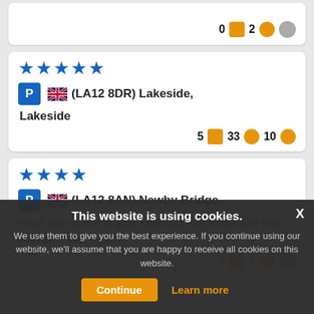0 [image icon] 2 [speech icon] [gray icon]
[Figure (other): Review card for Lakeside (LA12 8DR) with 4.5 star rating, parking icon, UK flag, stats: 5 photos, 33 comments, 10 ratings]
[Figure (other): Review card for Newby Bridge (LA12 8AN) with 4 star rating, parking icon, UK flag, text: Small little pull-in on quiet side road next to the river that you could walk down to..., stats: 3 photos, 3 comments, gray rating]
This website is using cookies. We use them to give you the best experience. If you continue using our website, we'll assume that you are happy to receive all cookies on this website. Continue | Learn more